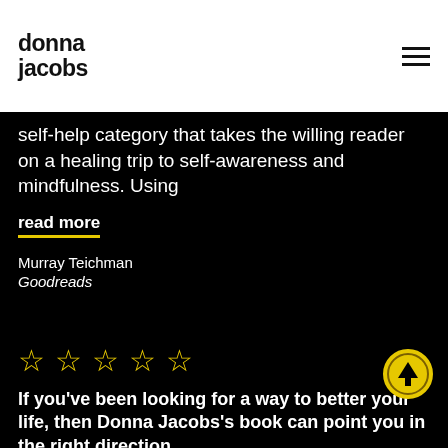donna jacobs
self-help category that takes the willing reader on a healing trip to self-awareness and mindfulness. Using
read more
Murray Teichman
Goodreads
[Figure (other): Five yellow outlined stars (5-star rating)]
If you've been looking for a way to better your life, then Donna Jacobs's book can point you in the right direction
I personally benefitted enormously from reading this book. It has helped me to understand how and why I